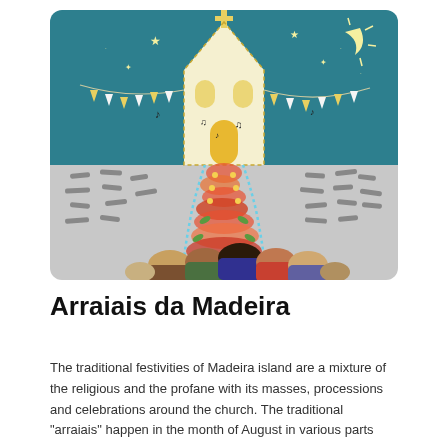[Figure (illustration): Illustration of Arraiais da Madeira festival: a glowing church with a cross on top set against a teal night sky with stars and crescent moon, decorated with bunting/flags in yellow and white. Below, a crowd of people viewed from behind walking toward the church along a flower-petal carpet path in red, orange, and pink patterns, surrounded by scattered dark marks on a grey ground.]
Arraiais da Madeira
The traditional festivities of Madeira island are a mixture of the religious and the profane with its masses, processions and celebrations around the church. The traditional "arraiais" happen in the month of August in various parts